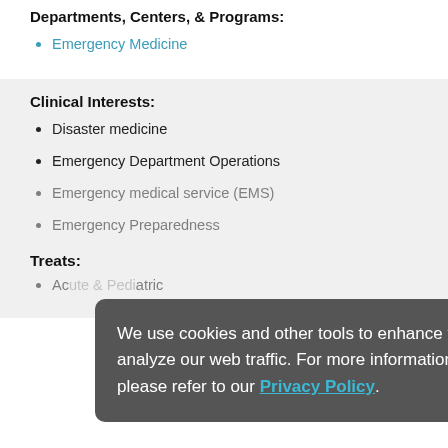Departments, Centers, & Programs:
Emergency Medicine
Clinical Interests:
Disaster medicine
Emergency Department Operations
Emergency medical service (EMS)
Emergency Preparedness
Treats:
Acute & Pediatric
We use cookies and other tools to enhance your experience on our website and to analyze our web traffic. For more information about these cookies and the data collected, please refer to our Privacy Policy.